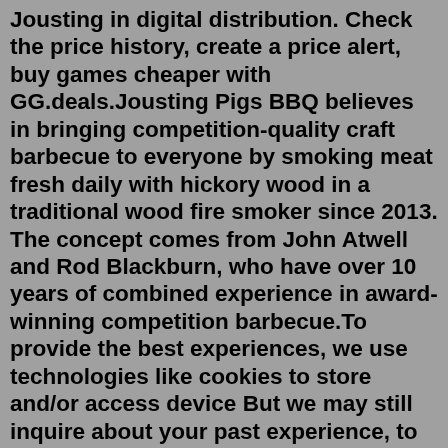Jousting in digital distribution. Check the price history, create a price alert, buy games cheaper with GG.deals.Jousting Pigs BBQ believes in bringing competition-quality craft barbecue to everyone by smoking meat fresh daily with hickory wood in a traditional wood fire smoker since 2013. The concept comes from John Atwell and Rod Blackburn, who have over 10 years of combined experience in award-winning competition barbecue.To provide the best experiences, we use technologies like cookies to store and/or access device But we may still inquire about your past experience, to understand the way you talk about your former...Ready to help your event attendees experience your next meeting or conference on a new level? Start your planning with an event management platform that includes event registration software and a fully...Low Specs Experience. The Most Advanced Game Optimization Tool. Low Specs Experience officially launched in 2016 and has remained in active development ever since.Jousting Pigs BBQ believes in bringing competition-quality